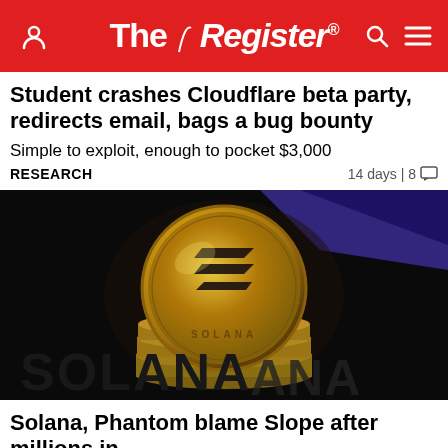The Register
Student crashes Cloudflare beta party, redirects email, bags a bug bounty
Simple to exploit, enough to pocket $3,000
RESEARCH    14 days | 8
[Figure (photo): Gold Solana cryptocurrency coin stacked on other coins against a dark background with partial Solana logo text visible]
Solana, Phantom blame Slope after millions in